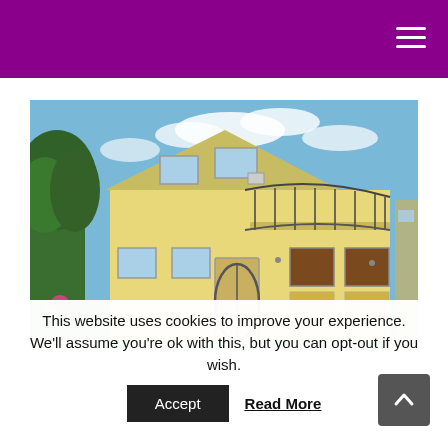[Figure (photo): Exterior photo of a two-story apartment building with a balcony, iron railings, yellow/beige facade, trees and flowers in the foreground, blue sky with clouds in the background.]
This website uses cookies to improve your experience. We'll assume you're ok with this, but you can opt-out if you wish.
Accept  Read More